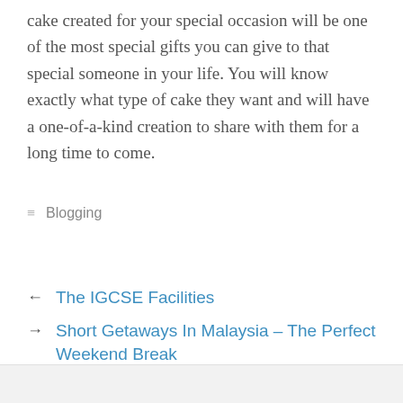cake created for your special occasion will be one of the most special gifts you can give to that special someone in your life. You will know exactly what type of cake they want and will have a one-of-a-kind creation to share with them for a long time to come.
≡ Blogging
← The IGCSE Facilities
→ Short Getaways In Malaysia – The Perfect Weekend Break